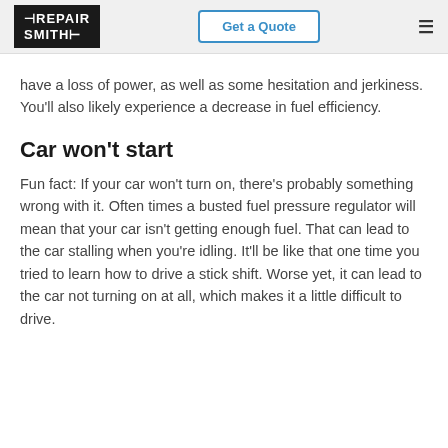RepairSmith | Get a Quote
have a loss of power, as well as some hesitation and jerkiness. You'll also likely experience a decrease in fuel efficiency.
Car won't start
Fun fact: If your car won't turn on, there's probably something wrong with it. Often times a busted fuel pressure regulator will mean that your car isn't getting enough fuel. That can lead to the car stalling when you're idling. It'll be like that one time you tried to learn how to drive a stick shift. Worse yet, it can lead to the car not turning on at all, which makes it a little difficult to drive.